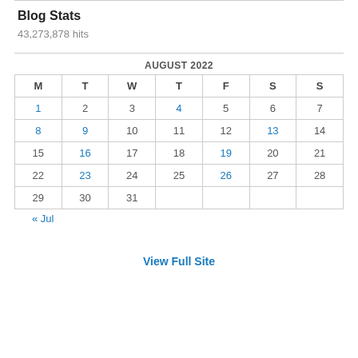Blog Stats
43,273,878 hits
| M | T | W | T | F | S | S |
| --- | --- | --- | --- | --- | --- | --- |
| 1 | 2 | 3 | 4 | 5 | 6 | 7 |
| 8 | 9 | 10 | 11 | 12 | 13 | 14 |
| 15 | 16 | 17 | 18 | 19 | 20 | 21 |
| 22 | 23 | 24 | 25 | 26 | 27 | 28 |
| 29 | 30 | 31 |  |  |  |  |
« Jul
View Full Site